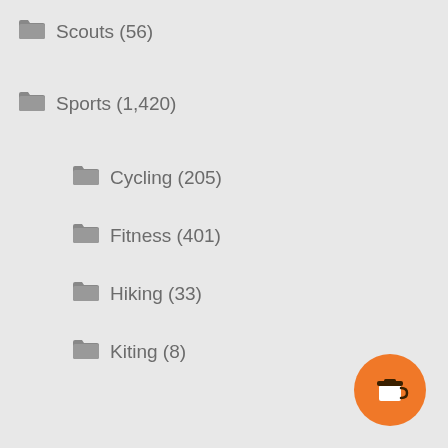Scouts (56)
Sports (1,420)
Cycling (205)
Fitness (401)
Hiking (33)
Kiting (8)
MTB (295)
Quadrathlon (27)
Running (151)
Stand Up Paddle Boarding (31)